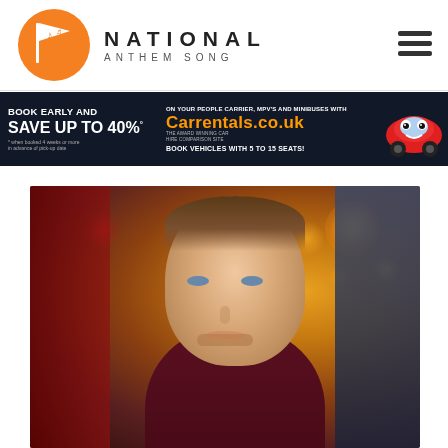NATIONAL ANTHEM SONG
[Figure (screenshot): Advertisement banner for Carrentals.co.uk: 'BOOK EARLY AND SAVE UP TO 40%° ON YOUR PEOPLE CARRIER, MPV'S AND MINIBUSES WITH Carrentals.co.uk THE AWARD WINNING CAR HIRE COMPARISON SITE. BOOK VEHICLES WITH 5 TO 15 SEATS!' with a cartoon red car mascot.]
[Figure (photo): A young man with short brown hair and blue eyes, wearing a dark maroon polo shirt, smiling slightly. He appears to be in a bar or restaurant setting with warm bokeh lighting in the background. Another person in a blue jacket is partially visible on the right edge.]